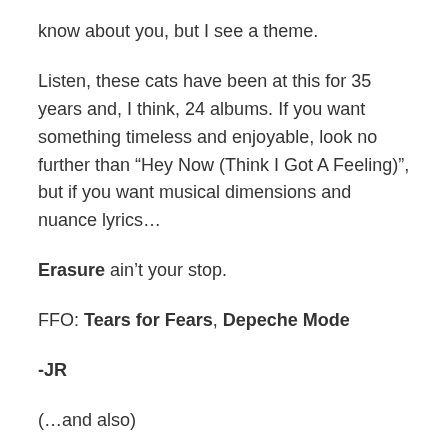know about you, but I see a theme.
Listen, these cats have been at this for 35 years and, I think, 24 albums. If you want something timeless and enjoyable, look no further than “Hey Now (Think I Got A Feeling)”, but if you want musical dimensions and nuance lyrics…
Erasure ain’t your stop.
FFO: Tears for Fears, Depeche Mode
-JR
(…and also)
You know Erasure.  I know Erasure.  Even if I can’t recite a discography, I know that trademarked synthy